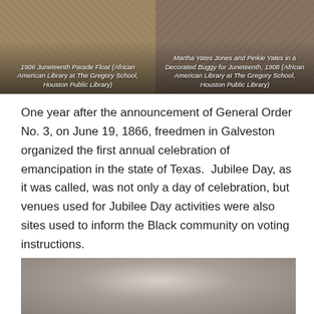[Figure (photo): Sepia-toned historical photograph of 1906 Juneteenth Parade Float, with caption overlay in white italic text.]
[Figure (photo): Sepia-toned historical photograph of Martha Yates Jones and Pinkie Yates in a Decorated Buggy for Juneteenth, 1908, with caption overlay in white italic text.]
One year after the announcement of General Order No. 3, on June 19, 1866, freedmen in Galveston organized the first annual celebration of emancipation in the state of Texas.  Jubilee Day, as it was called, was not only a day of celebration, but venues used for Jubilee Day activities were also sites used to inform the Black community on voting instructions.
[Figure (photo): Black and white historical photograph (partially visible), appears to show a person, bottom of page.]